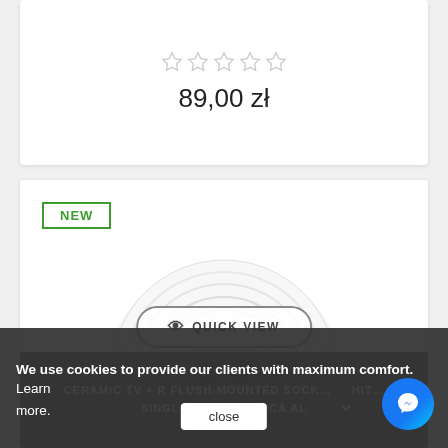89,00 zł
[Figure (photo): White ceramic circular TV+R flush-mounted socket with two black connector ports and one small orange/copper pin, set on a white round base with concentric ring texture]
QUICK VIEW
CERAMIC TV + R FLUSH-MOUNTED SOCK... SINGLE FRAME ANTICA AL
We use cookies to provide our clients with maximum comfort. Learn more.
close